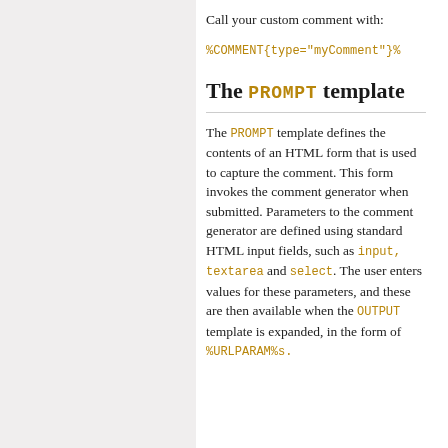Call your custom comment with:
%COMMENT{type="myComment"}%
The PROMPT template
The PROMPT template defines the contents of an HTML form that is used to capture the comment. This form invokes the comment generator when submitted. Parameters to the comment generator are defined using standard HTML input fields, such as input, textarea and select. The user enters values for these parameters, and these are then available when the OUTPUT template is expanded, in the form of %URLPARAM%s.